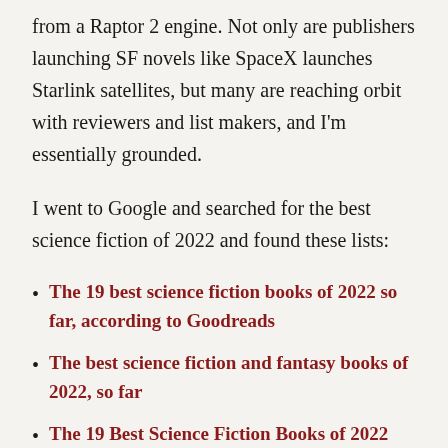from a Raptor 2 engine. Not only are publishers launching SF novels like SpaceX launches Starlink satellites, but many are reaching orbit with reviewers and list makers, and I'm essentially grounded.
I went to Google and searched for the best science fiction of 2022 and found these lists:
The 19 best science fiction books of 2022 so far, according to Goodreads
The best science fiction and fantasy books of 2022, so far
The 19 Best Science Fiction Books of 2022 (and Our Most Anticipated)